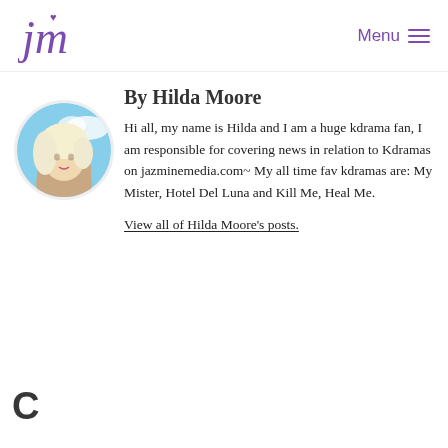jazminemedia logo | Menu
[Figure (photo): Circular profile photo of Hilda Moore, a blonde woman]
By Hilda Moore
Hi all, my name is Hilda and I am a huge kdrama fan, I am responsible for covering news in relation to Kdramas on jazminemedia.com~ My all time fav kdramas are: My Mister, Hotel Del Luna and Kill Me, Heal Me.
View all of Hilda Moore's posts.